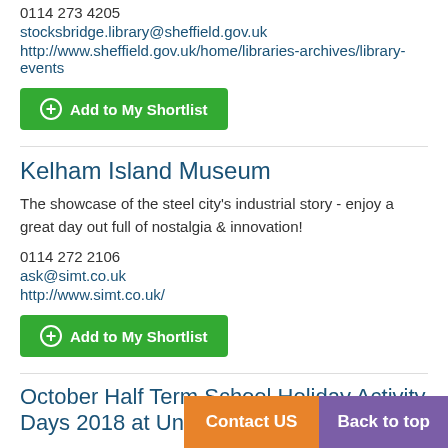0114 273 4205
stocksbridge.library@sheffield.gov.uk
http://www.sheffield.gov.uk/home/libraries-archives/library-events
+ Add to My Shortlist
Kelham Island Museum
The showcase of the steel city's industrial story - enjoy a great day out full of nostalgia & innovation!
0114 272 2106
ask@simt.co.uk
http://www.simt.co.uk/
+ Add to My Shortlist
October Half Term School Holiday Activity Days 2018 at Underbank Activity Centre
Join us for our half term activity days at Underbank Activity Centre this October 2018. We have an action packed programme of land and water based activities including c ein.
Navigation and Survival Skills. The...
Contact US | Back to top